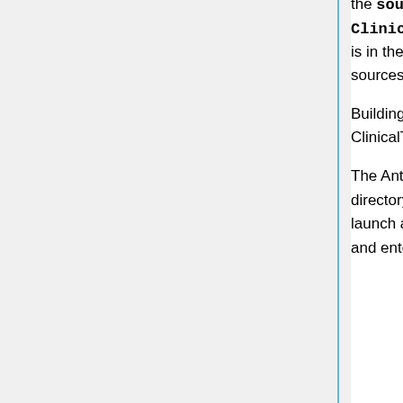the source and libraries for building the application. The top of the directory tree is ClinicalTrialProcessor. It contains several subdirectories. The source code is in the source directory, which has two subdirectories, one each for the Java sources and the files required by the application.
Building ClinicalTrialProcessor requires the Java 1.6 JDK and Ant. Running ClinicalTrialProcessor requires the JDK or JRE and the JAI ImageIO Tools.
The Ant build file for ClinicalTrialProcessor is in the ClinicalTrialProcessor directory and is called build.xml. To build the software on a Windows system, launch a command window, navigate to the ClinicalTrialProcessor directory, and enter ant all.